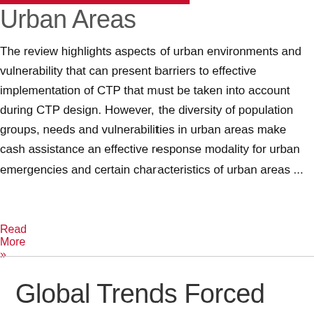Urban Areas
The review highlights aspects of urban environments and vulnerability that can present barriers to effective implementation of CTP that must be taken into account during CTP design. However, the diversity of population groups, needs and vulnerabilities in urban areas make cash assistance an effective response modality for urban emergencies and certain characteristics of urban areas ...
Read More »
Global Trends Forced Displacement In 2014 UNHCR